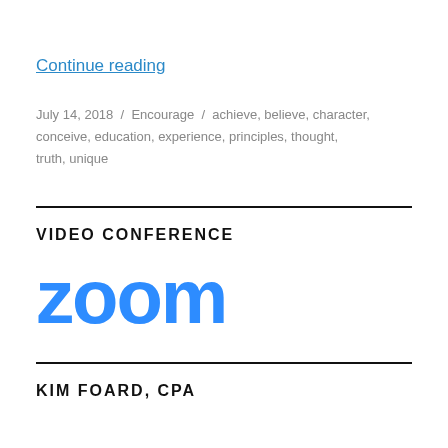Continue reading
July 14, 2018  /  Encourage  /  achieve, believe, character, conceive, education, experience, principles, thought, truth, unique
VIDEO CONFERENCE
[Figure (logo): Zoom logo in blue with lowercase text 'zoom']
KIM FOARD, CPA